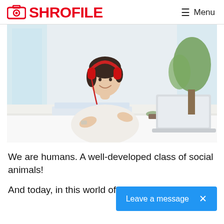SHROFILE  ≡ Menu
[Figure (photo): Young woman with red headphones sitting at a desk, smiling, with an open laptop and notebook in front of her, a plant in the background, bright indoor setting.]
We are humans. A well-developed class of social animals!
And today, in this world of Internet, where social